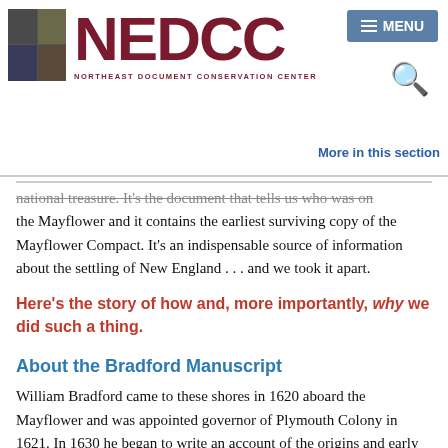[Figure (logo): NEDCC Northeast Document Conservation Center logo with grid of four small images and burgundy text]
MENU | More in this section
national treasure. It's the document that tells us who was on the Mayflower and it contains the earliest surviving copy of the Mayflower Compact. It's an indispensable source of information about the settling of New England . . . and we took it apart.
Here's the story of how and, more importantly, why we did such a thing.
About the Bradford Manuscript
William Bradford came to these shores in 1620 aboard the Mayflower and was appointed governor of Plymouth Colony in 1621. In 1630 he began to write an account of the origins and early years of the settlement. He called his account "Of Plimoth Plantation," but we know it today as the Bradford Manuscript.